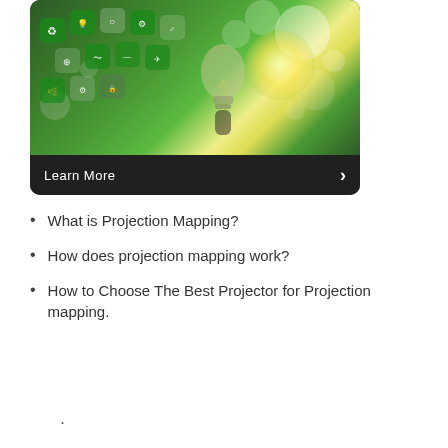[Figure (photo): A glowing light bulb surrounded by green technology hexagon icons on a bokeh green background, with a dark overlay bar at the bottom showing 'Learn More' text and a right-pointing arrow.]
What is Projection Mapping?
How does projection mapping work?
How to Choose The Best Projector for Projection mapping.
.